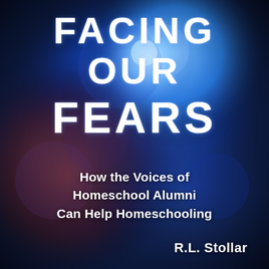[Figure (illustration): Book cover with a dark blue bokeh background featuring blurred blue and purple light circles, with a reddish-brown shadowy shape in the lower-left area.]
FACING OUR FEARS
How the Voices of Homeschool Alumni Can Help Homeschooling
R.L. Stollar